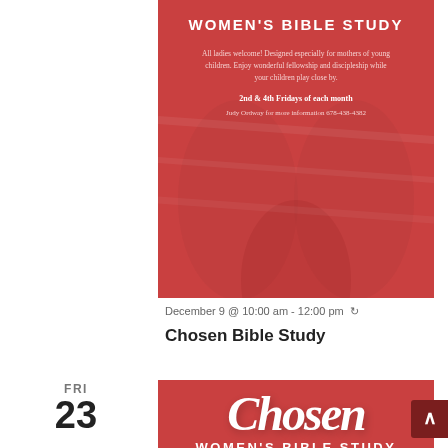[Figure (illustration): Red banner for Chosen Women's Bible Study showing title text, description about all ladies welcome designed especially for mothers of young children, date info for 2nd & 4th Fridays of each month, and contact info for Judy Ordway 678-438-4382]
December 9 @ 10:00 am - 12:00 pm ↻
Chosen Bible Study
FRI
23
[Figure (illustration): Red banner for Chosen Women's Bible Study with large cursive Chosen text, WOMEN'S BIBLE STUDY subtitle, description about all ladies welcome designed especially for mothers of young children fellowship and discipleship, and 2nd & 4th Fridays of each month]